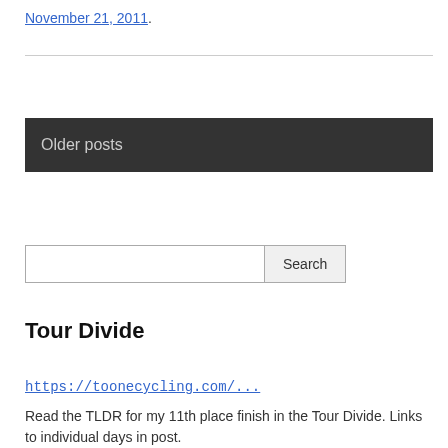November 21, 2011.
Older posts
Search
Tour Divide
https://toonecycling.com/...
Read the TLDR for my 11th place finish in the Tour Divide. Links to individual days in post.